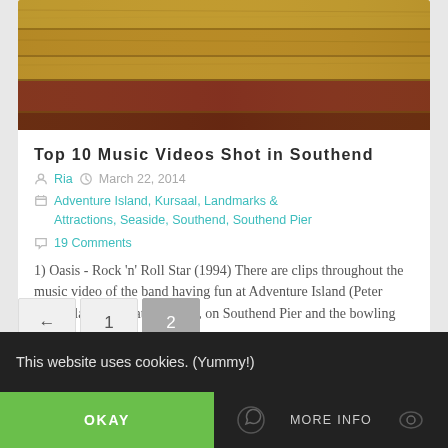[Figure (photo): Photograph of painted wooden boards with yellow, red and brown tones — top portion of a blog article card]
Top 10 Music Videos Shot in Southend
Ria   March 22, 2014
Adventure Island, Kursaal, Landmarks & Attractions, Seaside, Southend, Southend Pier
19 Comments
1) Oasis - Rock 'n' Roll Star (1994) There are clips throughout the music video of the band having fun at Adventure Island (Peter Pan's Playground at the time), on Southend Pier and the bowling alley that...
← 1 2
This website uses cookies. (Yummy!)
OKAY   MORE INFO